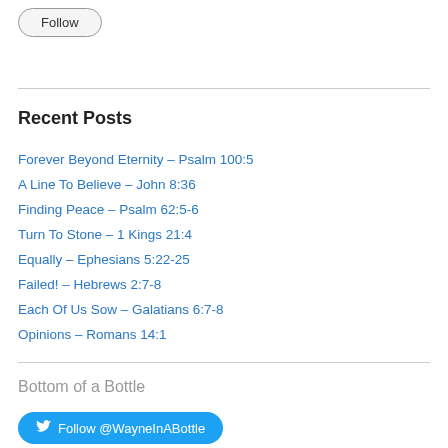Follow
Recent Posts
Forever Beyond Eternity – Psalm 100:5
A Line To Believe – John 8:36
Finding Peace – Psalm 62:5-6
Turn To Stone – 1 Kings 21:4
Equally – Ephesians 5:22-25
Failed! – Hebrews 2:7-8
Each Of Us Sow – Galatians 6:7-8
Opinions – Romans 14:1
Bottom of a Bottle
Follow @WayneInABottle